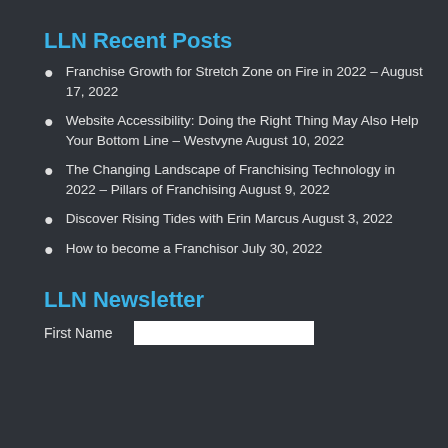LLN Recent Posts
Franchise Growth for Stretch Zone on Fire in 2022 – August 17, 2022
Website Accessibility: Doing the Right Thing May Also Help Your Bottom Line – Westvyne August 10, 2022
The Changing Landscape of Franchising Technology in 2022 – Pillars of Franchising August 9, 2022
Discover Rising Tides with Erin Marcus August 3, 2022
How to become a Franchisor July 30, 2022
LLN Newsletter
First Name [input field]